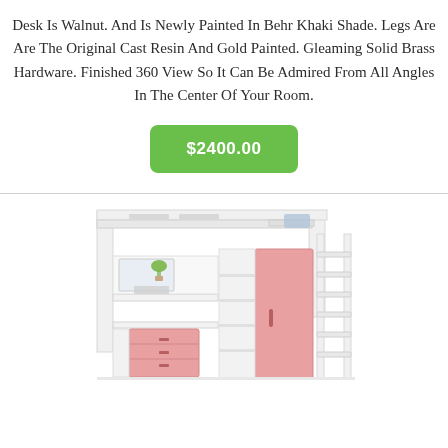Desk Is Walnut. And Is Newly Painted In Behr Khaki Shade. Legs Are Are The Original Cast Resin And Gold Painted. Gleaming Solid Brass Hardware. Finished 360 View So It Can Be Admired From All Angles In The Center Of Your Room.
$2400.00
[Figure (photo): A white loft bed with a built-in desk area underneath featuring pink drawers and a pink wardrobe/closet panel, along with shelving and a ladder on the right side.]